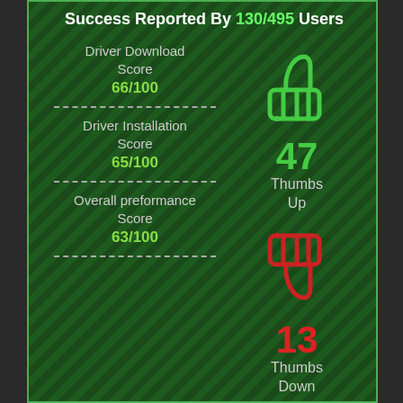Success Reported By 130/495 Users
Driver Download Score
66/100
Driver Installation Score
65/100
Overall preformance Score
63/100
[Figure (illustration): Thumbs up icon in green outline style]
47 Thumbs Up
[Figure (illustration): Thumbs down icon in red outline style]
13 Thumbs Down
Dell M781p M781mm driver direct download was reported as adequate by a large percentage of our reporters, so it should be good to download and install.